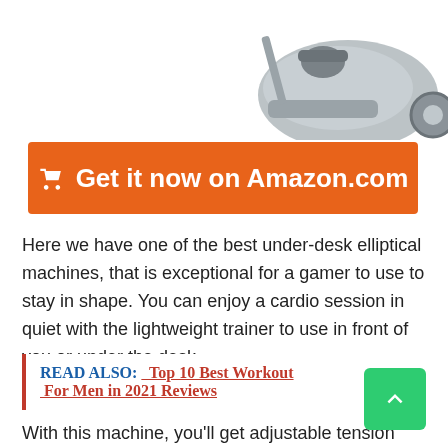[Figure (photo): Partial product image of an under-desk elliptical machine in gray, showing pedal mechanism, top right area of page]
🛒 Get it now on Amazon.com
Here we have one of the best under-desk elliptical machines, that is exceptional for a gamer to use to stay in shape. You can enjoy a cardio session in quiet with the lightweight trainer to use in front of you or under the desk.
READ ALSO:  Top 10 Best Workout Gloves For Men in 2021 Reviews
With this machine, you'll get adjustable tension